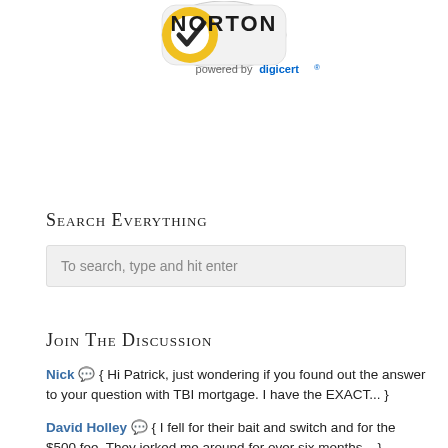[Figure (logo): Norton security logo with yellow/gold shield and checkmark, 'NORTON' text in black, 'powered by digicert' text below in gray and blue]
Search Everything
To search, type and hit enter
Join The Discussion
Nick 💬 { Hi Patrick, just wondering if you found out the answer to your question with TBI mortgage. I have the EXACT... }
David Holley 💬 { I fell for their bait and switch and for the $500 fee. They jerked me around for over six months... }